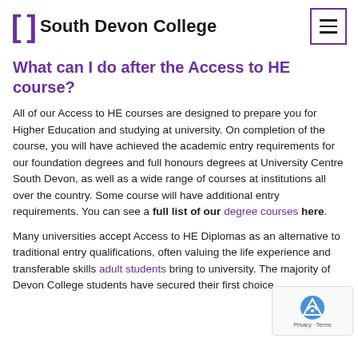South Devon College
What can I do after the Access to HE course?
All of our Access to HE courses are designed to prepare you for Higher Education and studying at university. On completion of the course, you will have achieved the academic entry requirements for our foundation degrees and full honours degrees at University Centre South Devon, as well as a wide range of courses at institutions all over the country. Some course will have additional entry requirements. You can see a full list of our degree courses here.
Many universities accept Access to HE Diplomas as an alternative to traditional entry qualifications, often valuing the life experience and transferable skills adult students bring to university. The majority of Devon College students have secured their first choice